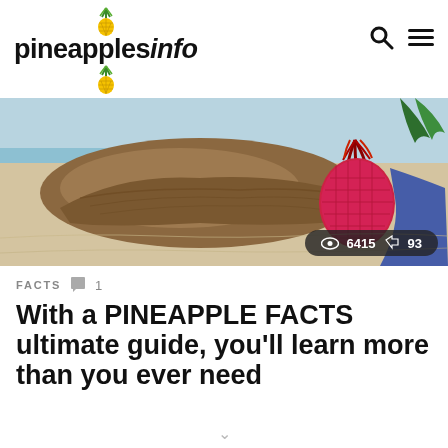pineapplesinfo
[Figure (photo): A beach scene with driftwood and a red/pink pineapple on sandy beach. Stats overlay showing 6415 views and 93 shares.]
FACTS  💬 1
With a PINEAPPLE FACTS ultimate guide, you'll learn more than you ever need